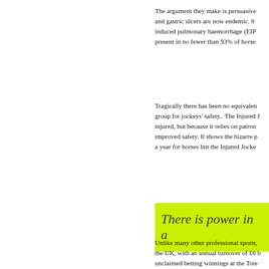The argument they make is persuasive and gastric ulcers are now endemic. 8 induced pulmonary haemorrhage (EIP present in no fewer than 93% of horse
Tragically there has been no equivalent group for jockeys' safety.. The Injured injured, but because it relies on patron improved safety. It shows the bizarre p a year for horses but the Injured Jocke
There is power in a
Unlike many other professional sports, the UK, with an annual turnover of £6 k unclaimed betting winnings at the Tote jockeys do not get a share of this by ri